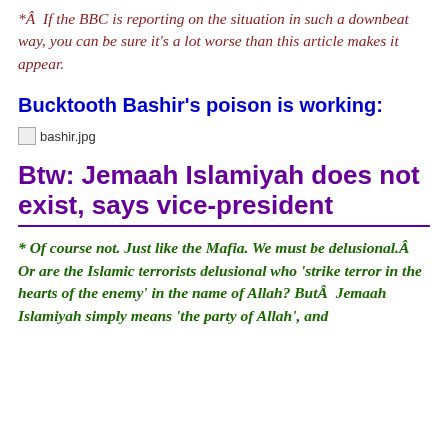*Â  If the BBC is reporting on the situation in such a downbeat way, you can be sure it's a lot worse than this article makes it appear.
Bucktooth Bashir's poison is working:
[Figure (photo): Broken image placeholder labeled bashir.jpg]
Btw: Jemaah Islamiyah does not exist, says vice-president
* Of course not. Just like the Mafia. We must be delusional.Â  Or are the Islamic terrorists delusional who 'strike terror in the hearts of the enemy' in the name of Allah? ButÂ  Jemaah Islamiyah simply means 'the party of Allah', and